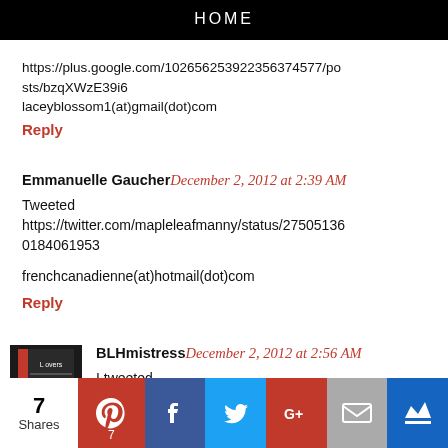HOME
https://plus.google.com/102656253922356374577/posts/bzqXWzE39i6
laceyblossom1(at)gmail(dot)com
Reply
Emmanuelle Gaucher December 2, 2012 at 2:39 AM
Tweeted https://twitter.com/mapleleafmanny/status/275051360184061953

frenchcanadienne(at)hotmail(dot)com
Reply
BLHmistress December 2, 2012 at 2:56 AM
I tweeted https://twitter.com/BookLovershaway/status/275055104300818432